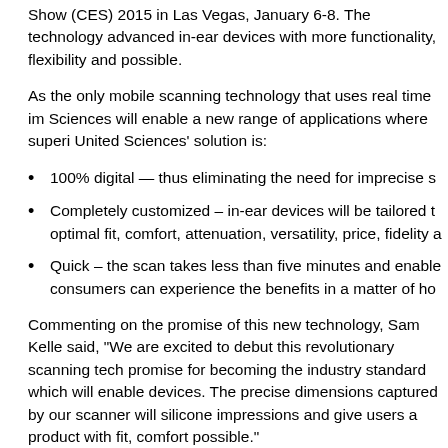Show (CES) 2015 in Las Vegas, January 6-8. The technology advanced in-ear devices with more functionality, flexibility and possible.
As the only mobile scanning technology that uses real time im Sciences will enable a new range of applications where superi United Sciences' solution is:
100% digital — thus eliminating the need for imprecise s
Completely customized – in-ear devices will be tailored t optimal fit, comfort, attenuation, versatility, price, fidelity a
Quick – the scan takes less than five minutes and enable consumers can experience the benefits in a matter of ho
Commenting on the promise of this new technology, Sam Kelle said, "We are excited to debut this revolutionary scanning tech promise for becoming the industry standard which will enable devices. The precise dimensions captured by our scanner will silicone impressions and give users a product with fit, comfort possible."